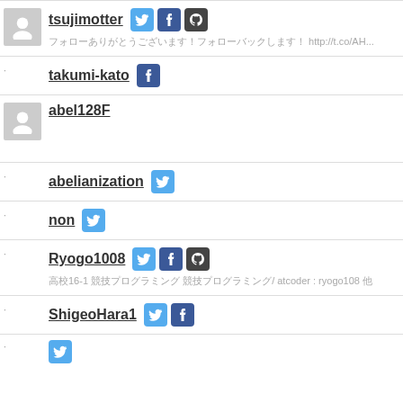tsujimotter [twitter][facebook][github] — http://t.co/AH...
takumi-kato [facebook]
abel128F
abelianization [twitter]
non [twitter]
Ryogo1008 [twitter][facebook][github] — 高校16-1 競技プログラミング 競技プログラミング/ atcoder : ryogo108 他
ShigeoHara1 [twitter][facebook]